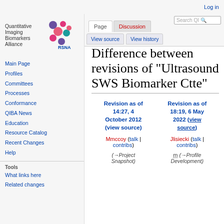Log in
[Figure (logo): Quantitative Imaging Biomarkers Alliance logo with colorful dots and RSNA text]
Page | Discussion | View source | View history | Search QI
Difference between revisions of "Ultrasound SWS Biomarker Ctte"
Main Page
Profiles
Committees
Processes
Conformance
QIBA News
Education
Resource Catalog
Recent Changes
Help
Tools
What links here
Related changes
| Revision as of 14:27, 4 October 2012 (view source) | Revision as of 18:19, 6 May 2022 (view source) |
| --- | --- |
| Mmccoy (talk | contribs) | Jlisiecki (talk | contribs) |
| (→Project Snapshot) | m (→Profile Development) |